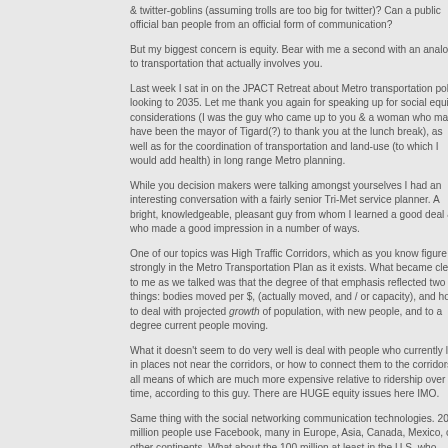& twitter-goblins (assuming trolls are too big for twitter)? Can a public official ban people from an official form of communication?
But my biggest concern is equity. Bear with me a second with an analogy to transportation that actually involves you.
Last week I sat in on the JPACT Retreat about Metro transportation policy looking to 2035. Let me thank you again for speaking up for social equity considerations (I was the guy who came up to you & a woman who may have been the mayor of Tigard(?) to thank you at the lunch break), as well as for the coordination of transportation and land-use (to which I would add health) in long range Metro planning.
While you decision makers were talking amongst yourselves I had an interesting conversation with a fairly senior Tri-Met service planner. A bright, knowledgeable, pleasant guy from whom I learned a good deal & who made a good impression in a number of ways.
One of our topics was High Traffic Corridors, which as you know figure strongly in the Metro Transportation Plan as it exists. What became clear to me as we talked was that the degree of that emphasis reflected two things: bodies moved per $, (actually moved, and / or capacity), and how to deal with projected growth of population, with new people, and to a degree current people moving.
What it doesn't seem to do very well is deal with people who currently live in places not near the corridors, or how to connect them to the corridors, all means of which are much more expensive relative to ridership over time, according to this guy. There are HUGE equity issues here IMO.
Same thing with the social networking communication technologies. 200 million people use Facebook, many in Europe, Asia, Canada, Mexico, or other continents. What about the 100 million at least in the U.S. who don't, many of whom may only have library access at best to the internet or not really be involved with computers at all for